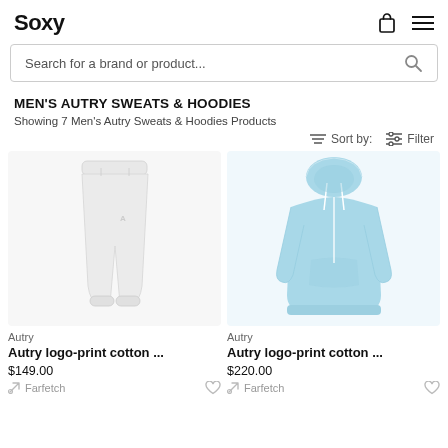Soxy
Search for a brand or product...
MEN'S AUTRY SWEATS & HOODIES
Showing 7 Men's Autry Sweats & Hoodies Products
Sort by:   Filter
[Figure (photo): White Autry logo-print cotton sweatpants on white background]
Autry
Autry logo-print cotton ...
$149.00
Farfetch
[Figure (photo): Light blue Autry logo-print cotton hoodie on white background]
Autry
Autry logo-print cotton ...
$220.00
Farfetch